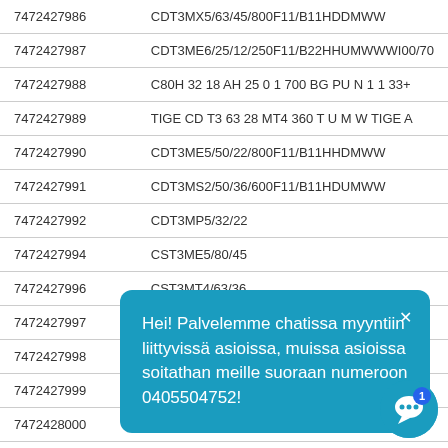| ID | Code |
| --- | --- |
| 7472427986 | CDT3MX5/63/45/800F11/B11HDDMWW |
| 7472427987 | CDT3ME6/25/12/250F11/B22HHUMWWWI00/70 |
| 7472427988 | C80H 32 18 AH 25 0 1 700 BG PU N 1 1 33+ |
| 7472427989 | TIGE CD T3 63 28 MT4 360 T U M W TIGE A |
| 7472427990 | CDT3ME5/50/22/800F11/B11HHDMWW |
| 7472427991 | CDT3MS2/50/36/600F11/B11HDUMWW |
| 7472427992 | CDT3MP5/32/22… |
| 7472427994 | CST3ME5/80/45… |
| 7472427996 | CST3MT4/63/36… |
| 7472427997 | CDT3MP1/50/28… |
| 7472427998 | CDT3MS2/63/28/10F11/B11HEOMWW |
| 7472427999 | CDT3ME5/125/56/19F11/B11HHDMWW |
| 7472428000 | CDT3MP5/63/45/500F11/B11HEDMWW |
Hei! Palvelemme chatissa myyntiin liittyvissä asioissa, muissa asioissa soitathan meille suoraan numeroon 0405504752!